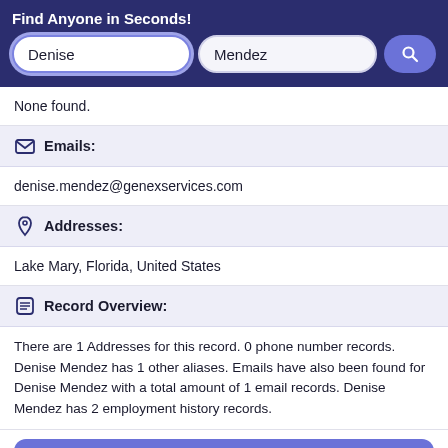Find Anyone in Seconds!
Denise
Mendez
None found.
Emails:
denise.mendez@genexservices.com
Addresses:
Lake Mary, Florida, United States
Record Overview:
There are 1 Addresses for this record. 0 phone number records. Denise Mendez has 1 other aliases. Emails have also been found for Denise Mendez with a total amount of 1 email records. Denise Mendez has 2 employment history records.
Open Report